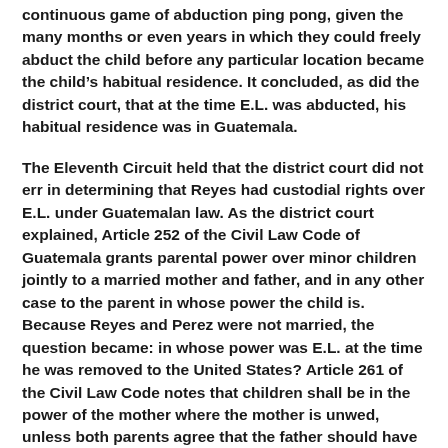continuous game of abduction ping pong, given the many months or even years in which they could freely abduct the child before any particular location became the child's habitual residence. It concluded, as did the district court, that at the time E.L. was abducted, his habitual residence was in Guatemala.
The Eleventh Circuit held that the district court did not err in determining that Reyes had custodial rights over E.L. under Guatemalan law. As the district court explained, Article 252 of the Civil Law Code of Guatemala grants parental power over minor children jointly to a married mother and father, and in any other case to the parent in whose power the child is. Because Reyes and Perez were not married, the question became: in whose power was E.L. at the time he was removed to the United States? Article 261 of the Civil Law Code notes that children shall be in the power of the mother where the mother is unwed, unless both parents agree that the father should have custody. Consequently, the district court properly determined that under Guatemalan law Reyes had custodial rights over